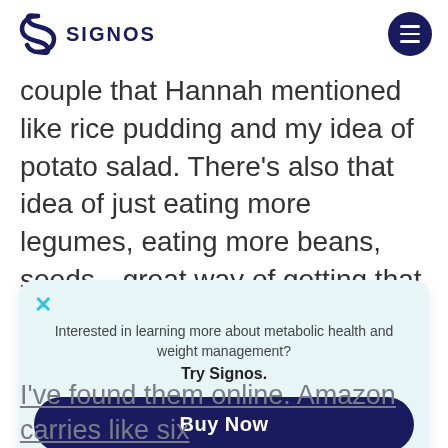SIGNOS
couple that Hannah mentioned like rice pudding and my idea of potato salad. There's also that idea of just eating more legumes, eating more beans, seeds—great way of getting that type one resistant starch. And then there's additions like potato starch, very
Interested in learning more about metabolic health and weight management? Try Signos.
Buy Now
I've found them online. Amazon carries like six